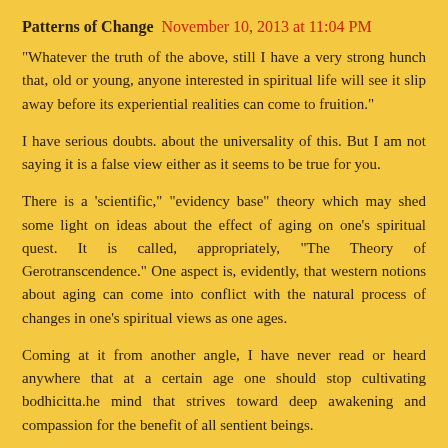Patterns of Change  November 10, 2013 at 11:04 PM
"Whatever the truth of the above, still I have a very strong hunch that, old or young, anyone interested in spiritual life will see it slip away before its experiential realities can come to fruition."
I have serious doubts. about the universality of this. But I am not saying it is a false view either as it seems to be true for you.
There is a 'scientific," "evidency base" theory which may shed some light on ideas about the effect of aging on one's spiritual quest. It is called, appropriately, "The Theory of Gerotranscendence." One aspect is, evidently, that western notions about aging can come into conflict with the natural process of changes in one's spiritual views as one ages.
Coming at it from another angle, I have never read or heard anywhere that at a certain age one should stop cultivating bodhicitta.he mind that strives toward deep awakening and compassion for the benefit of all sentient beings.